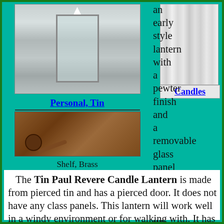[Figure (photo): Photo of a tin lantern with glass panels, pewter finish, shown against teal background]
Personal, Tin
[Figure (photo): Photo of a brass shelf bracket/sconce]
Shelf, Brass
[Figure (photo): Photo of white candles bundled together]
Candles
an early style lantern with a pewter finish and a removable glass panel on each of the three sides. The top is removable, so that you can light the candle or replace a broken pane. It is designed to give plenty of light. There is a wire bale handle with a loop so that it can be hung up. It is designed to use candles up to 5" tall.
The Tin Paul Revere Candle Lantern is made from pierced tin and has a pierced door. It does not have any class panels. This lantern will work well in a windy environment or for walking with. It has a pewter finish. There is a loop on the top so that it can be hung up.  Comes in two sizes Large 16" X 5 1/4" (up to 8" candle) and Small 11" x 4" (up to 6"